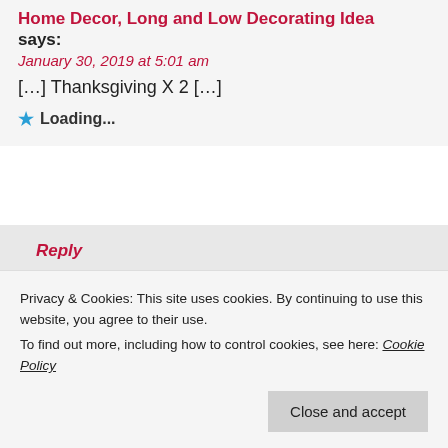Home Decor, Long and Low Decorating Idea says:
January 30, 2019 at 5:01 am
[…] Thanksgiving X 2 […]
★ Loading...
Reply
Home Decor, Fall Centerpieces, Vignettes & Apron says:
September 12, 2019 at 5:01 am
[…] Thanksgiving x 2 […]
★ Loading...
•
Privacy & Cookies: This site uses cookies. By continuing to use this website, you agree to their use.
To find out more, including how to control cookies, see here: Cookie Policy
Close and accept